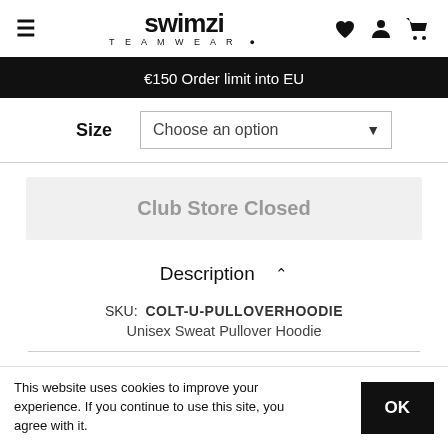swimzi TEAMWEAR
€150 Order limit into EU
Size  Choose an option
Club Store Closed
Description
SKU:  COLT-U-PULLOVERHOODIE
Unisex Sweat Pullover Hoodie
Care & Fabric
This website uses cookies to improve your experience. If you continue to use this site, you agree with it.